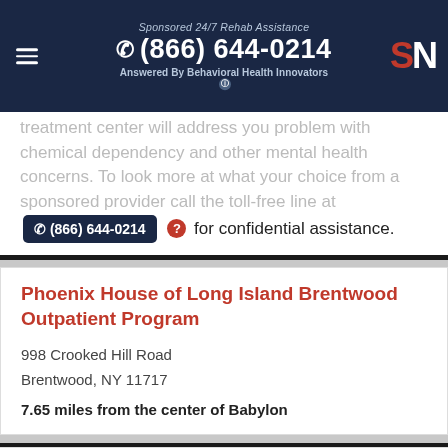Sponsored 24/7 Rehab Assistance | (866) 644-0214 | Answered By Behavioral Health Innovators | SN
treatment center will address you problem with chemical dependency and other mental health concerns. To look more at what your choice from a sponsored provider call the toll-free line at (866) 644-0214 for confidential assistance.
Phoenix House of Long Island Brentwood Outpatient Program
998 Crooked Hill Road
Brentwood, NY 11717
7.65 miles from the center of Babylon
Charles K Post Addiction Treatment Ctr Inpatient Rehabilitation P...